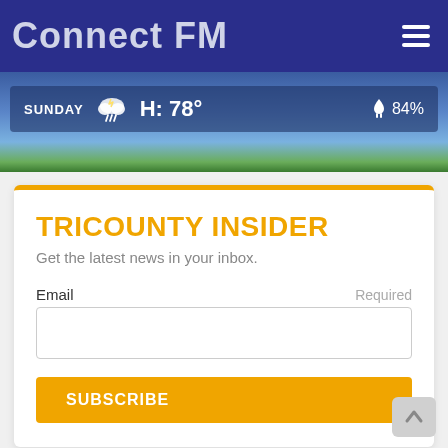Connect FM
[Figure (screenshot): Weather strip showing SUNDAY, storm cloud icon, H: 78°, umbrella icon, 84%, with sky and green field background]
TRICOUNTY INSIDER
Get the latest news in your inbox.
Email    Required
SUBSCRIBE